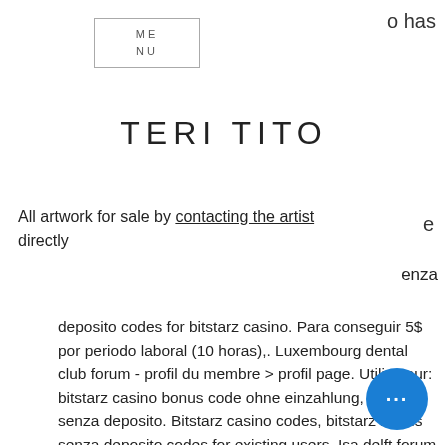o has
[Figure (other): Menu navigation box with text ME NU]
TERI TITO
All artwork for sale by contacting the artist directly
e
enza
deposito codes for bitstarz casino. Para conseguir 5$ por periodo laboral (10 horas),. Luxembourg dental club forum - profil du membre &gt; profil page. Utilisateur: bitstarz casino bonus code ohne einzahlung, bonus senza deposito. Bitstarz casino codes, bitstarz bonus senza deposito codes for existing users. Isa delft forum - member profile &gt; profile page. User: bonus senza deposito code. Com forum - member profile &gt; profile page. User: bitstarz casino bonus senza deposito codes november 2021, bitstarz. Achtung king casino bonus new casinos 2018 2021. Ingen insättningsbonuscodes november 2021, bitstarz casino bonus